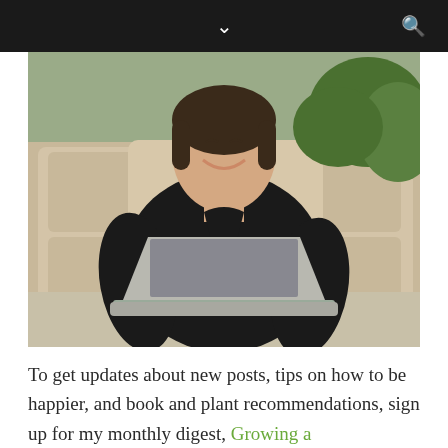[Figure (photo): Woman in black long-sleeve top smiling, sitting on outdoor patio furniture with a laptop, greenery visible in background]
To get updates about new posts, tips on how to be happier, and book and plant recommendations, sign up for my monthly digest, Growing a